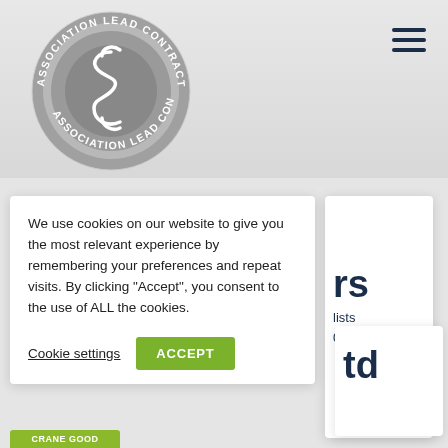[Figure (logo): Association Lead Contractors circular logo — grey circle with white decorative emblem and text reading 'ASSOCIATION LEAD CONTRACTORS' around the perimeter]
We use cookies on our website to give you the most relevant experience by remembering your preferences and repeat visits. By clicking “Accept”, you consent to the use of ALL the cookies.
Cookie settings
ACCEPT
rs
lists
0617
td
CRANE GOOD